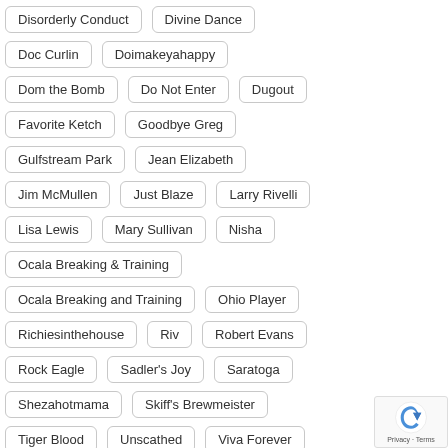Disorderly Conduct
Divine Dance
Doc Curlin
Doimakeyahappy
Dom the Bomb
Do Not Enter
Dugout
Favorite Ketch
Goodbye Greg
Gulfstream Park
Jean Elizabeth
Jim McMullen
Just Blaze
Larry Rivelli
Lisa Lewis
Mary Sullivan
Nisha
Ocala Breaking & Training
Ocala Breaking and Training
Ohio Player
Richiesinthehouse
Riv
Robert Evans
Rock Eagle
Sadler's Joy
Saratoga
Shezahotmama
Skiff's Brewmeister
Tiger Blood
Unscathed
Viva Forever